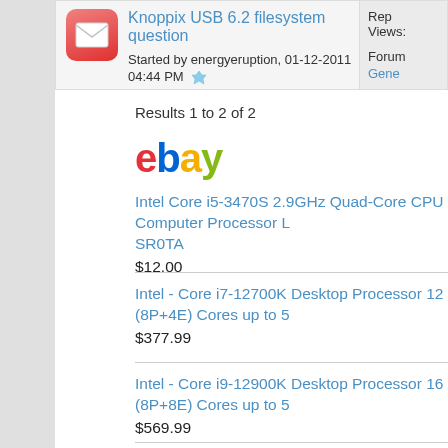Knoppix USB 6.2 filesystem question
Started by energyeruption, 01-12-2011 04:44 PM
Rep
Views:
Forum
Gene
Results 1 to 2 of 2
[Figure (logo): eBay logo in colorful letters]
Intel Core i5-3470S 2.9GHz Quad-Core CPU Computer Processor L SR0TA
$12.00
Intel - Core i7-12700K Desktop Processor 12 (8P+4E) Cores up to 5
$377.99
Intel - Core i9-12900K Desktop Processor 16 (8P+8E) Cores up to 5
$569.99